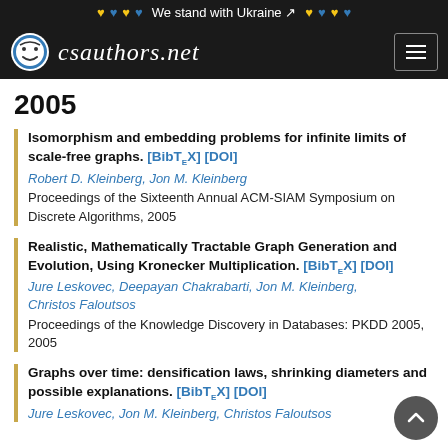♥♥♥♥ We stand with Ukraine ♥♥♥♥
[Figure (logo): csauthors.net logo with smiley face icon and hamburger menu]
2005
Isomorphism and embedding problems for infinite limits of scale-free graphs. [BibTeX] [DOI] Robert D. Kleinberg, Jon M. Kleinberg — Proceedings of the Sixteenth Annual ACM-SIAM Symposium on Discrete Algorithms, 2005
Realistic, Mathematically Tractable Graph Generation and Evolution, Using Kronecker Multiplication. [BibTeX] [DOI] Jure Leskovec, Deepayan Chakrabarti, Jon M. Kleinberg, Christos Faloutsos — Proceedings of the Knowledge Discovery in Databases: PKDD 2005, 2005
Graphs over time: densification laws, shrinking diameters and possible explanations. [BibTeX] [DOI] Jure Leskovec, Jon M. Kleinberg, Christos Faloutsos